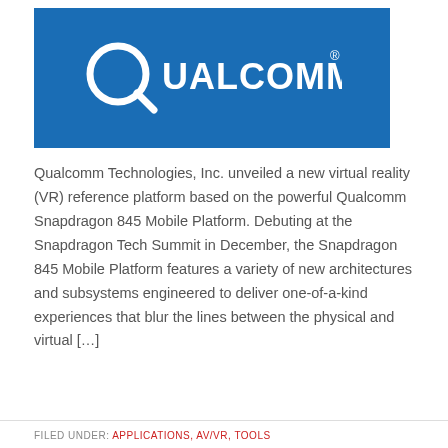[Figure (logo): Qualcomm logo — white text on blue background]
Qualcomm Technologies, Inc. unveiled a new virtual reality (VR) reference platform based on the powerful Qualcomm Snapdragon 845 Mobile Platform. Debuting at the Snapdragon Tech Summit in December, the Snapdragon 845 Mobile Platform features a variety of new architectures and subsystems engineered to deliver one-of-a-kind experiences that blur the lines between the physical and virtual […]
FILED UNDER: APPLICATIONS, AV/VR, TOOLS